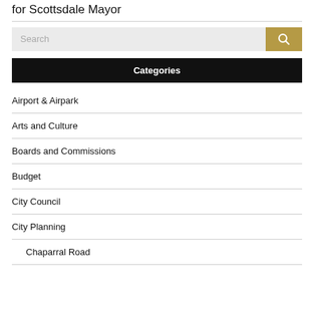for Scottsdale Mayor
[Figure (screenshot): Search bar with gold search button]
Categories
Airport & Airpark
Arts and Culture
Boards and Commissions
Budget
City Council
City Planning
Chaparral Road